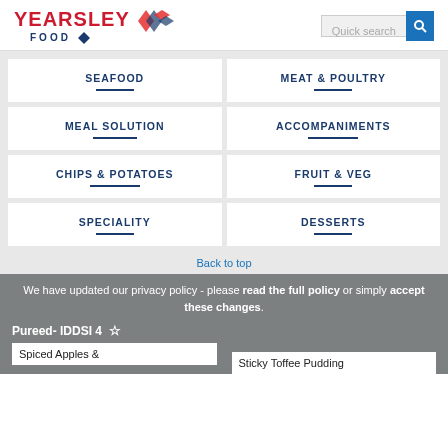[Figure (logo): Yearsley Food logo with red text YEARSLEY, blue FOOD text and diamond shapes]
SEAFOOD
MEAT & POULTRY
MEAL SOLUTION
ACCOMPANIMENTS
CHIPS & POTATOES
FRUIT & VEG
SPECIALITY
DESSERTS
Back to top
We have updated our privacy policy - please read the full policy or simply accept these changes.
Pureed- IDDSI 4
Spiced Apples &
Sticky Toffee Pudding